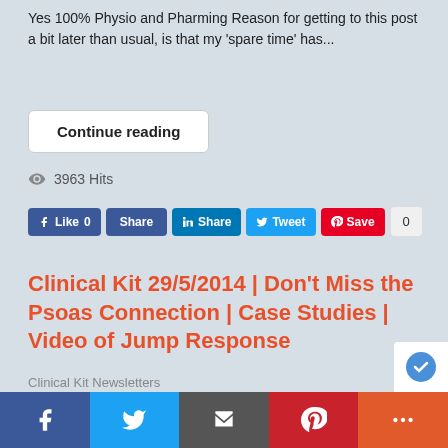Yes 100% Physio and Pharming Reason for getting to this post a bit later than usual, is that my 'spare time' has...
Continue reading
3963 Hits
[Figure (screenshot): Social sharing buttons: Facebook Like 0, Share, LinkedIn Share, Tweet, Pinterest Save, count 0]
Clinical Kit 29/5/2014 | Don't Miss the Psoas Connection | Case Studies | Video of Jump Response
Clinical Kit Newsletters
Hi Titled “Electroacupuncture treatment of acute low b
[Figure (screenshot): Bottom social share bar with Facebook, Twitter, Email, Pinterest, and More buttons]